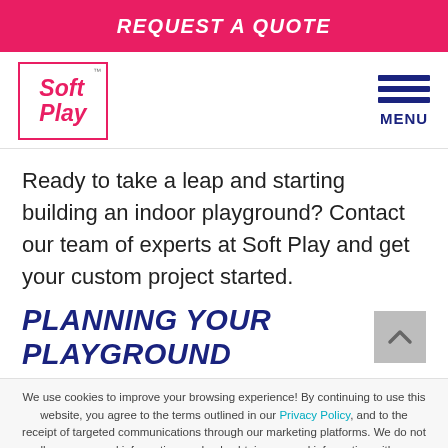REQUEST A QUOTE
[Figure (logo): Soft Play logo in pink/magenta with square border]
Ready to take a leap and starting building an indoor playground? Contact our team of experts at Soft Play and get your custom project started.
PLANNING YOUR PLAYGROUND
We use cookies to improve your browsing experience! By continuing to use this website, you agree to the terms outlined in our Privacy Policy, and to the receipt of targeted communications through our marketing platforms. We do not sell your personal information, and only obtain personal information with your consent. For more details, please refer to our Privacy Policy.
Yes, I agree | English >